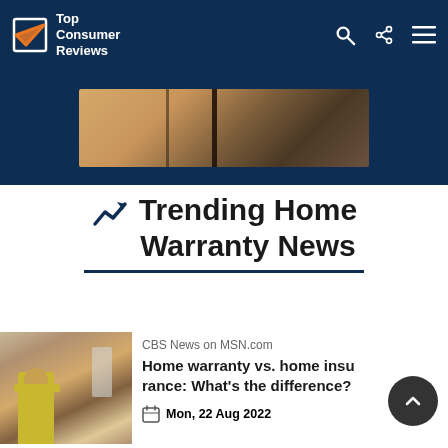Top Consumer Reviews
[Figure (photo): Partial photo of a wooden surface with a dark vertical element, shown in a dark navy banner area]
Trending Home Warranty News
[Figure (photo): Photo of a worker in yellow jacket and hard hat working in a kitchen]
CBS News on MSN.com
Home warranty vs. home insurance: What's the difference?
Mon, 22 Aug 2022